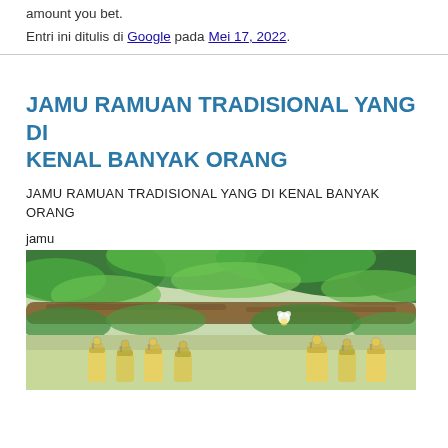amount you bet.
Entri ini ditulis di Google pada Mei 17, 2022.
JAMU RAMUAN TRADISIONAL YANG DI KENAL BANYAK ORANG
JAMU RAMUAN TRADISIONAL YANG DI KENAL BANYAK ORANG
jamu
[Figure (photo): Photo of traditional jamu bottles with green plants and tree branch in background. Multiple small glass bottles with clip-top lids filled with yellow/golden liquid arranged in a row beneath tropical foliage.]